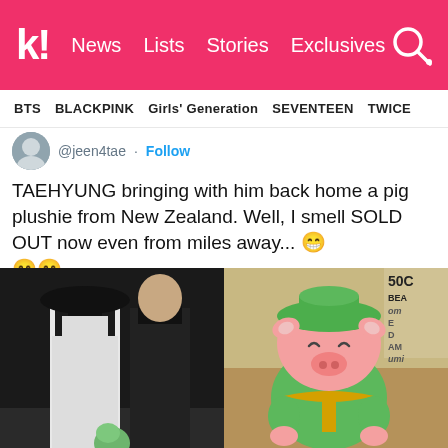k! News Lists Stories Exclusives
BTS BLACKPINK Girls' Generation SEVENTEEN TWICE
@jeen4tae · Follow
TAEHYUNG bringing with him back home a pig plushie from New Zealand. Well, I smell SOLD OUT now even from miles away... 😁😁😁
[Figure (photo): Left: Two people at an airport, one wearing black outfit with a black wide-brim hat. Right: A green pig plushie toy wearing a hat and scarf, with store signage visible.]